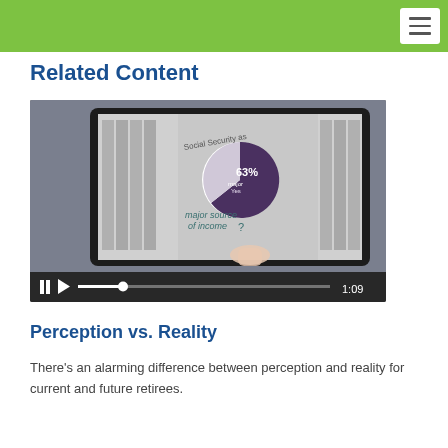Related Content
[Figure (screenshot): A video player showing a tablet device being used to interact with a financial infographic. The tablet screen shows a pie chart with '63%' labeled, text reading 'Social Security as a major source of income?' and what appears to be a bar chart. A hand is touching the screen. The video player shows controls with a pause button, play button, progress bar, and timestamp 1:09.]
Perception vs. Reality
There's an alarming difference between perception and reality for current and future retirees.